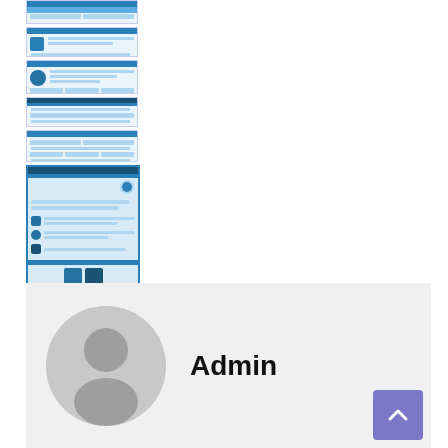[Figure (screenshot): A vertical strip of thumbnail previews of web/infographic pages, predominantly blue-themed UI screens with icons and text blocks]
[Figure (infographic): Admin user profile section with a circular gray avatar placeholder and bold 'Admin' text label, with a purple scroll-to-top button in the bottom right corner]